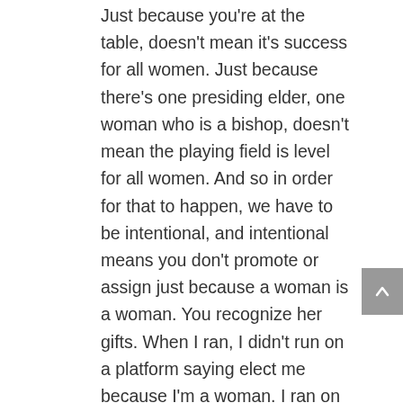Just because you're at the table, doesn't mean it's success for all women. Just because there's one presiding elder, one woman who is a bishop, doesn't mean the playing field is level for all women. And so in order for that to happen, we have to be intentional, and intentional means you don't promote or assign just because a woman is a woman. You recognize her gifts. When I ran, I didn't run on a platform saying elect me because I'm a woman. I ran on a platform that says elect me because I'm qualified.
Was there something you're particularly proud of achieving in ecumenical or interfaith circles?
Most of my ministry is focused within the AME Church but I preach everywhere. I have preached for the Presbyterian women, the Baptist women. I preached for the Hampton (University) Ministers'